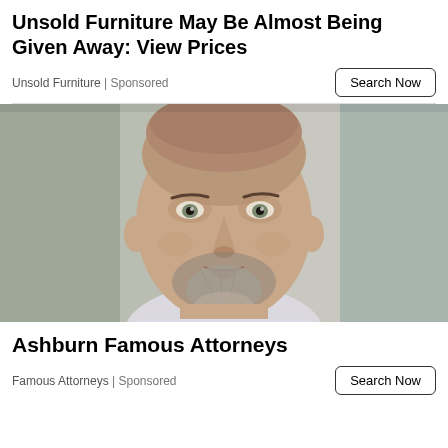Unsold Furniture May Be Almost Being Given Away: View Prices
Unsold Furniture | Sponsored
[Figure (photo): Close-up portrait photo of a middle-aged bald man with grey stubble beard, wearing a light-coloured shirt, with blurred urban background]
Ashburn Famous Attorneys
Famous Attorneys | Sponsored